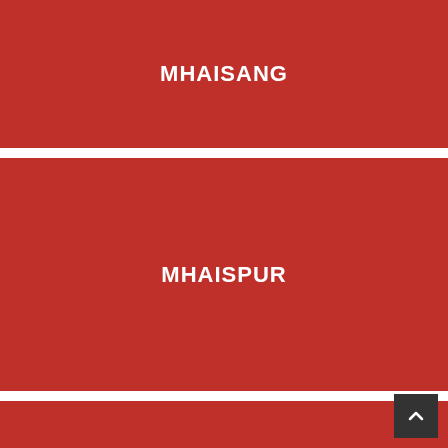MHAISANG
MHAISPUR
MIDC SHIVAR
MOHALA